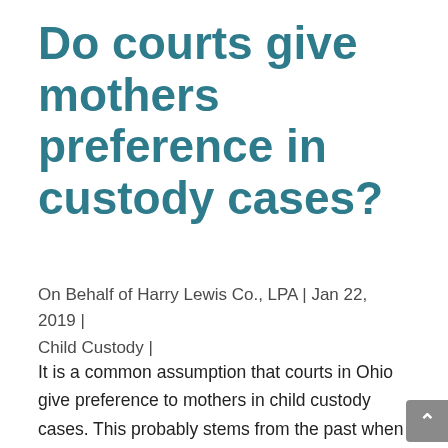Do courts give mothers preference in custody cases?
On Behalf of Harry Lewis Co., LPA | Jan 22, 2019 | Child Custody |
It is a common assumption that courts in Ohio give preference to mothers in child custody cases. This probably stems from the past when courts did often immediately assign custody to the mother. This was based on outdated gender roles where the mother stayed home with the children to care for them while the father worked. As society has changed and many families now have two parents working, this idea of the mother as the primary caregiver does not always stand. So, the courts have adjusted their thought process